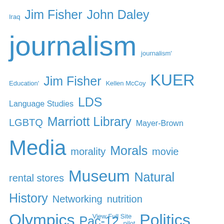[Figure (infographic): Tag cloud with various terms related to journalism, University of Utah, and media topics. Terms vary in font size indicating frequency/importance. All text is in blue. Terms include: Iraq, Jim Fisher, John Daley, journalism, journalism' Education', Jim Fisher, Kellen McCoy, KUER, Language Studies, LDS, LGBTQ, Marriott Library, Mayer-Brown, Media, morality, Morals, movie rental stores, Museum, Natural History, Networking, nutrition, Olympics, Pac-12, pilot, Politics, Radio West, Refugee, Russian, Salt Lake City, Sean Gustafson, SLC, Soccer, Social Media, sports, stories, student journal, students, Susan Tolchin, tax law, trigger point massage, university of utah, University of Utah Counseling Center, Utah, Vegan, young entrepreneur]
View Full Site